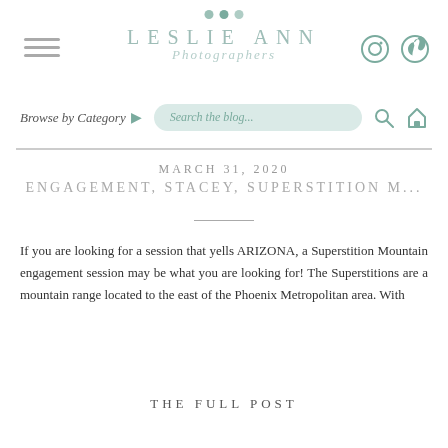[Figure (screenshot): Website header with navigation dots, hamburger menu, Leslie Ann Photographers logo, Instagram and Pinterest social icons]
Browse by Category ▶       Search the blog...
MARCH 31, 2020
ENGAGEMENT, STACEY, SUPERSTITION M...
If you are looking for a session that yells ARIZONA, a Superstition Mountain engagement session may be what you are looking for! The Superstitions are a mountain range located to the east of the Phoenix Metropolitan area. With
THE FULL POST